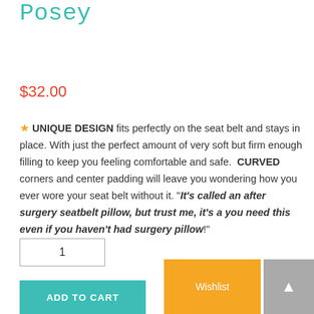Posey
$32.00
★ UNIQUE DESIGN fits perfectly on the seat belt and stays in place. With just the perfect amount of very soft but firm enough filling to keep you feeling comfortable and safe.  CURVED corners and center padding will leave you wondering how you ever wore your seat belt without it. "It's called an after surgery seatbelt pillow, but trust me, it's a you need this even if you haven't had surgery pillow!"